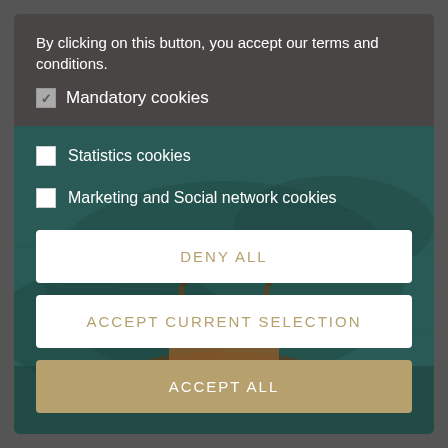By clicking on this button, you accept our terms and conditions.
Mandatory cookies
Statistics cookies
Marketing and Social network cookies
[Figure (screenshot): Aerial view of a gondola or ornate boat on dark teal water, used as background image behind cookie options]
DENY ALL
ACCEPT CURRENT SELECTION
ACCEPT ALL